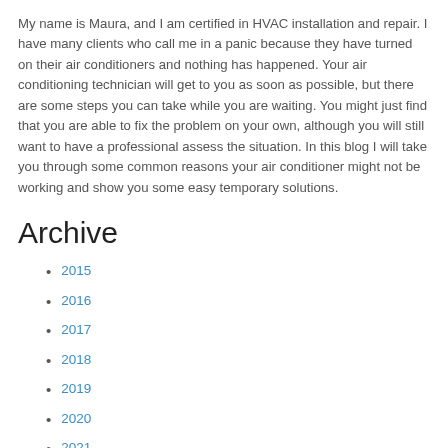My name is Maura, and I am certified in HVAC installation and repair. I have many clients who call me in a panic because they have turned on their air conditioners and nothing has happened. Your air conditioning technician will get to you as soon as possible, but there are some steps you can take while you are waiting. You might just find that you are able to fix the problem on your own, although you will still want to have a professional assess the situation. In this blog I will take you through some common reasons your air conditioner might not be working and show you some easy temporary solutions.
Archive
2015
2016
2017
2018
2019
2020
2021